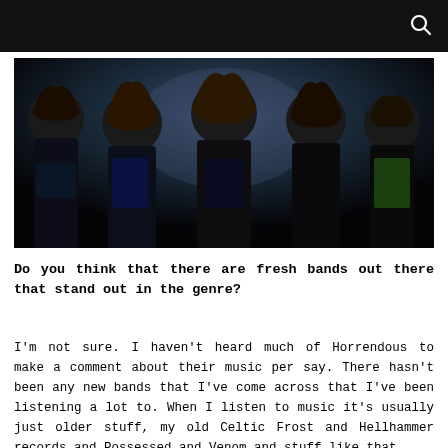[Figure (photo): Band photo of five long-haired heavy metal musicians posing together against a dark background. The members wear band t-shirts including what appears to be 'Suffocation' and 'Parrot' shirts.]
Do you think that there are fresh bands out there that stand out in the genre?
I'm not sure. I haven't heard much of Horrendous to make a comment about their music per say. There hasn't been any new bands that I've come across that I've been listening a lot to. When I listen to music it's usually just older stuff, my old Celtic Frost and Hellhammer records and Possessed and Venom and stuff like that